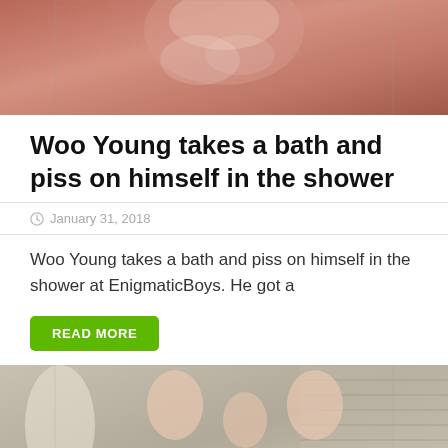[Figure (photo): Close-up photo of a person in a bath/shower with soap/foam on their face]
Woo Young takes a bath and piss on himself in the shower
January 31, 2018
Woo Young takes a bath and piss on himself in the shower at EnigmaticBoys. He got a
READ MORE
[Figure (photo): Photo of three young men posing together, with a plant visible in the background and window blinds]